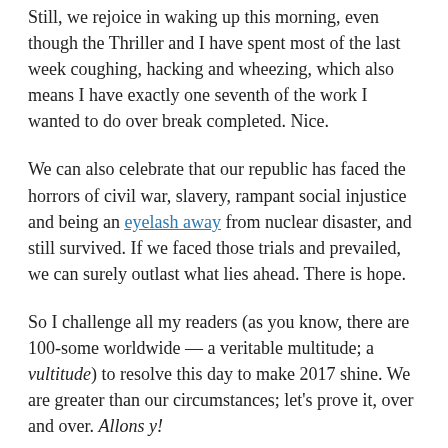Still, we rejoice in waking up this morning, even though the Thriller and I have spent most of the last week coughing, hacking and wheezing, which also means I have exactly one seventh of the work I wanted to do over break completed. Nice.
We can also celebrate that our republic has faced the horrors of civil war, slavery, rampant social injustice and being an eyelash away from nuclear disaster, and still survived. If we faced those trials and prevailed, we can surely outlast what lies ahead. There is hope.
So I challenge all my readers (as you know, there are 100-some worldwide — a veritable multitude; a vultitude) to resolve this day to make 2017 shine. We are greater than our circumstances; let's prove it, over and over. Allons y!
Happiness and peace,
RF